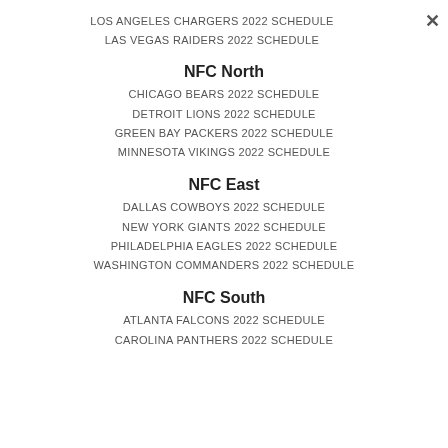LOS ANGELES CHARGERS 2022 SCHEDULE
LAS VEGAS RAIDERS 2022 SCHEDULE
NFC North
CHICAGO BEARS 2022 SCHEDULE
DETROIT LIONS 2022 SCHEDULE
GREEN BAY PACKERS 2022 SCHEDULE
MINNESOTA VIKINGS 2022 SCHEDULE
NFC East
DALLAS COWBOYS 2022 SCHEDULE
NEW YORK GIANTS 2022 SCHEDULE
PHILADELPHIA EAGLES 2022 SCHEDULE
WASHINGTON COMMANDERS 2022 SCHEDULE
NFC South
ATLANTA FALCONS 2022 SCHEDULE
CAROLINA PANTHERS 2022 SCHEDULE